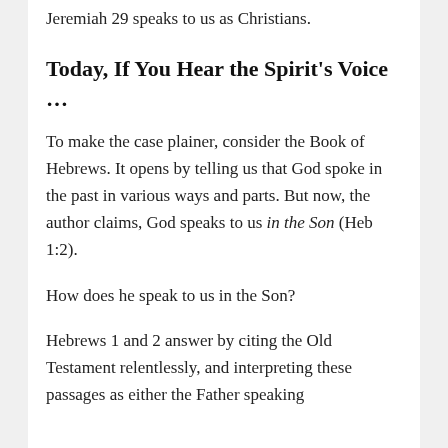Jeremiah 29 speaks to us as Christians.
Today, If You Hear the Spirit's Voice …
To make the case plainer, consider the Book of Hebrews. It opens by telling us that God spoke in the past in various ways and parts. But now, the author claims, God speaks to us in the Son (Heb 1:2).
How does he speak to us in the Son?
Hebrews 1 and 2 answer by citing the Old Testament relentlessly, and interpreting these passages as either the Father speaking